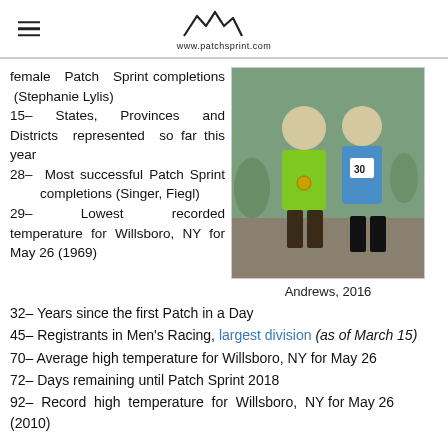www.patchsprint.com
female Patch Sprint completions (Stephanie Lylis)
15– States, Provinces and Districts represented so far this year
28– Most successful Patch Sprint completions (Singer, Fiegl)
29– Lowest recorded temperature for Willsboro, NY for May 26 (1969)
[Figure (photo): Two people posing outdoors, one wearing a green shirt with a medal, another wearing a blue top with race bib number 30, in a natural/rocky setting.]
Andrews, 2016
32– Years since the first Patch in a Day
45– Registrants in Men's Racing, largest division (as of March 15)
70– Average high temperature for Willsboro, NY for May 26
72– Days remaining until Patch Sprint 2018
92– Record high temperature for Willsboro, NY for May 26 (2010)